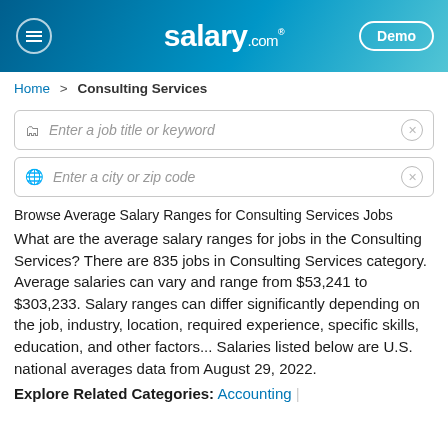salary.com — Demo
Home > Consulting Services
Enter a job title or keyword
Enter a city or zip code
Browse Average Salary Ranges for Consulting Services Jobs
What are the average salary ranges for jobs in the Consulting Services? There are 835 jobs in Consulting Services category. Average salaries can vary and range from $53,241 to $303,233. Salary ranges can differ significantly depending on the job, industry, location, required experience, specific skills, education, and other factors... Salaries listed below are U.S. national averages data from August 29, 2022.
Explore Related Categories: Accounting |